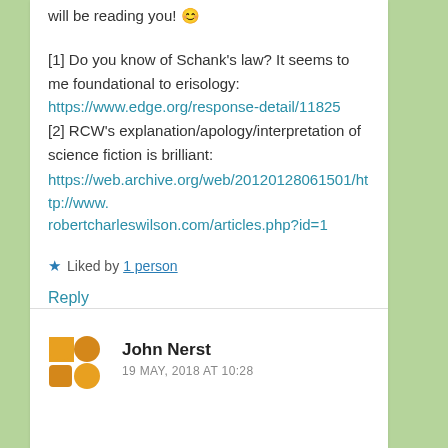will be reading you! 😊
[1] Do you know of Schank's law? It seems to me foundational to erisology:
https://www.edge.org/response-detail/11825
[2] RCW's explanation/apology/interpretation of science fiction is brilliant:
https://web.archive.org/web/20120128061501/http://www.robertcharleswilson.com/articles.php?id=1
★ Liked by 1 person
Reply
John Nerst
19 MAY, 2018 AT 10:28